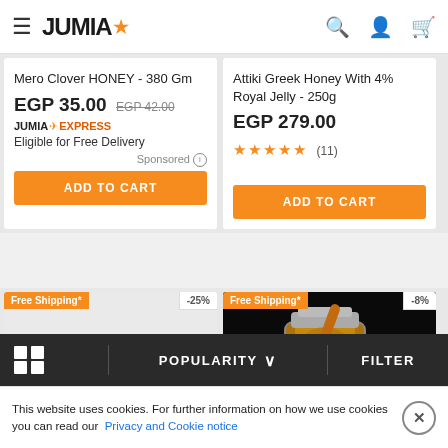JUMIA (logo with star)
Mero Clover HONEY - 380 Gm
EGP 35.00 EGP 42.00
JUMIA EXPRESS Eligible for Free Delivery
Sponsored
ADD TO CART
Attiki Greek Honey With 4% Royal Jelly - 250g
EGP 279.00
★★★★★ (11)
ADD TO CART
[Figure (screenshot): Product card row 2 left - Free Shipping badge, -25% discount badge, partially visible product image]
[Figure (photo): Product card row 2 right - Free Shipping badge, -8% discount badge, honey jar photo on dark background]
POPULARITY ∨
FILTER
This website uses cookies. For further information on how we use cookies you can read our Privacy and Cookie notice